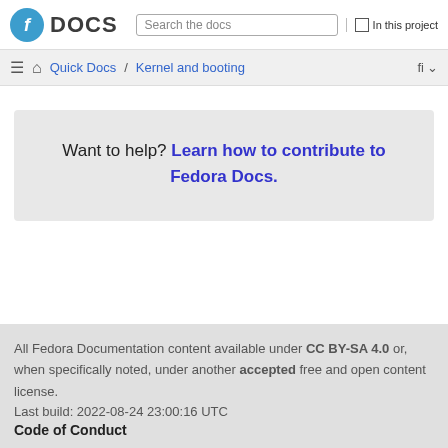DOCS | Search the docs | In this project
Quick Docs / Kernel and booting
Want to help? Learn how to contribute to Fedora Docs.
All Fedora Documentation content available under CC BY-SA 4.0 or, when specifically noted, under another accepted free and open content license.
Last build: 2022-08-24 23:00:16 UTC
Code of Conduct